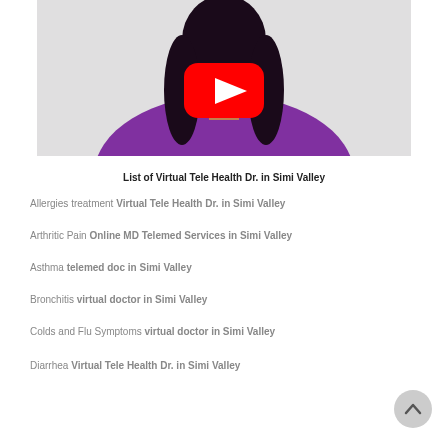[Figure (screenshot): YouTube video thumbnail showing a woman in a purple top with a red YouTube play button overlay]
List of Virtual Tele Health Dr. in Simi Valley
Allergies treatment Virtual Tele Health Dr. in Simi Valley
Arthritic Pain Online MD Telemed Services in Simi Valley
Asthma telemed doc in Simi Valley
Bronchitis virtual doctor in Simi Valley
Colds and Flu Symptoms virtual doctor in Simi Valley
Diarrhea Virtual Tele Health Dr. in Simi Valley